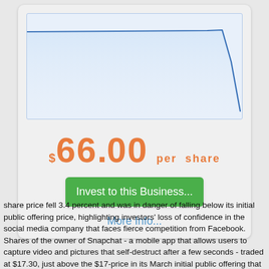[Figure (continuous-plot): Stock price line chart showing a mostly flat line with a sharp drop at the right end, plotted against a light blue background. The line is blue and drops steeply near the right edge of the chart area.]
$66.00 per share
Invest to this Business...
More Info...
share price fell 3.4 percent and was in danger of falling below its initial public offering price, highlighting investors' loss of confidence in the social media company that faces fierce competition from Facebook.
Shares of the owner of Snapchat - a mobile app that allows users to capture video and pictures that self-destruct after a few seconds - traded at $17.30, just above the $17-price in its March initial public offering that was the hottest U.S. technology listing in years.
The stock traded as high as $29.44 immediately after its market debut but has since